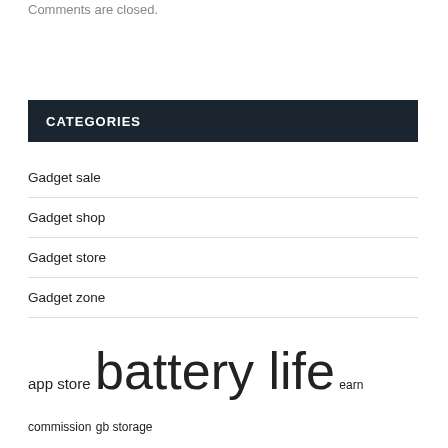Comments are closed.
CATEGORIES
Gadget sale
Gadget shop
Gadget store
Gadget zone
app store battery life earn commission gb storage holiday season limited time links earn samsung galaxy smart home stainless steel subject change tech deals tech news united states wi fi